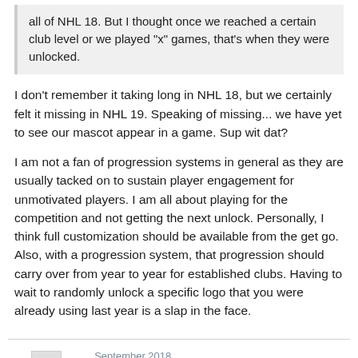all of NHL 18. But I thought once we reached a certain club level or we played "x" games, that's when they were unlocked.
I don't remember it taking long in NHL 18, but we certainly felt it missing in NHL 19. Speaking of missing... we have yet to see our mascot appear in a game. Sup wit dat?

I am not a fan of progression systems in general as they are usually tacked on to sustain player engagement for unmotivated players. I am all about playing for the competition and not getting the next unlock. Personally, I think full customization should be available from the get go. Also, with a progression system, that progression should carry over from year to year for established clubs. Having to wait to randomly unlock a specific logo that you were already using last year is a slap in the face.
VeNOM2099
September 2018